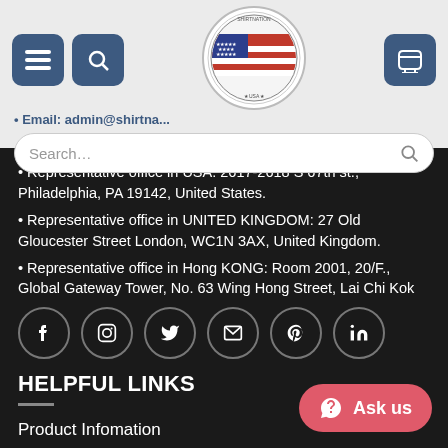Email: admin@shirtna... [navigation header with logo, search bar, menu, search, cart icons]
• Representative office in USA: 2617-2618 S 67th st., Philadelphia, PA 19142, United States.
• Representative office in UNITED KINGDOM: 27 Old Gloucester Street London, WC1N 3AX, United Kingdom.
• Representative office in Hong KONG: Room 2001, 20/F., Global Gateway Tower, No. 63 Wing Hong Street, Lai Chi Kok
[Figure (infographic): Row of 6 circular social media icons: Facebook, Instagram, Twitter, Email, Pinterest, LinkedIn]
HELPFUL LINKS
Product Infomation